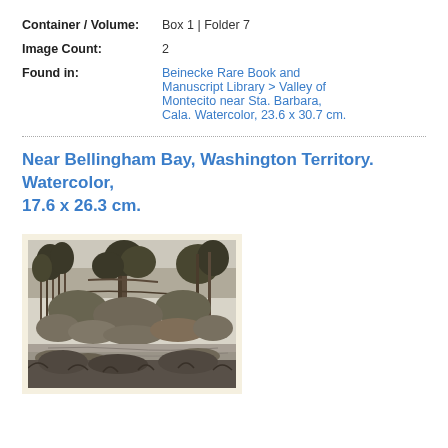Container / Volume: Box 1 | Folder 7
Image Count: 2
Found in: Beinecke Rare Book and Manuscript Library > Valley of Montecito near Sta. Barbara, Cala. Watercolor, 23.6 x 30.7 cm.
Near Bellingham Bay, Washington Territory. Watercolor, 17.6 x 26.3 cm.
[Figure (illustration): Watercolor illustration of a forest scene near Bellingham Bay, Washington Territory, showing tall conifer trees, dense undergrowth, and a body of water in the foreground. The image is mounted on a cream/beige backing paper.]